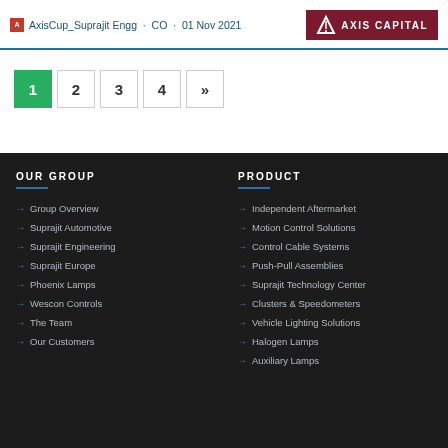AxisCup_Suprajit Engg · CO · 01 Nov 2021
1 2 3 4 »
OUR GROUP
Group Overview
Suprajit Automotive
Suprajit Engineering
Suprajit Europe
Phoenix Lamps
Wescon Controls
The Team
Our Customers
PRODUCT
Independent Aftermarket
Motion Control Solutions
Control Cable Systems
Push-Pull Assemblies
Suprajit Technology Center
Clusters & Speedometers
Vehicle Lighting Solutions
Halogen Lamps
Auxiliary Lamps